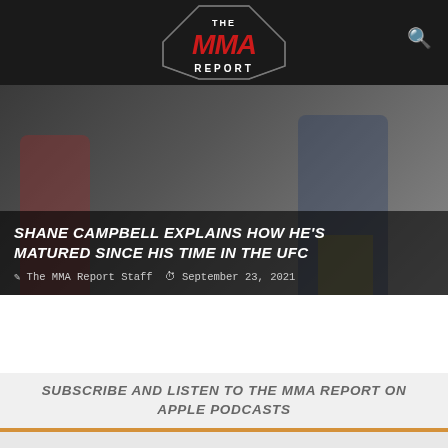The MMA Report
SHANE CAMPBELL EXPLAINS HOW HE'S MATURED SINCE HIS TIME IN THE UFC
The MMA Report Staff  September 23, 2021
SUBSCRIBE AND LISTEN TO THE MMA REPORT ON APPLE PODCASTS